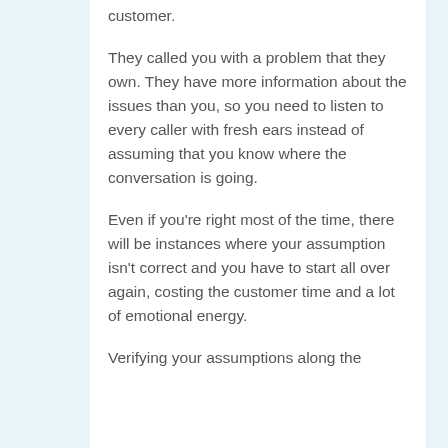customer.
They called you with a problem that they own. They have more information about the issues than you, so you need to listen to every caller with fresh ears instead of assuming that you know where the conversation is going.
Even if you're right most of the time, there will be instances where your assumption isn't correct and you have to start all over again, costing the customer time and a lot of emotional energy.
Verifying your assumptions along the